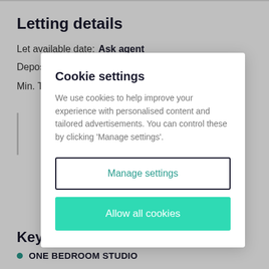Letting details
Let available date: Ask agent
Deposit: Ask agent
Min. Tenancy: Ask agent
Key features
ONE BEDROOM STUDIO
Cookie settings
We use cookies to help improve your experience with personalised content and tailored advertisements. You can control these by clicking 'Manage settings'.
Manage settings
Allow all cookies